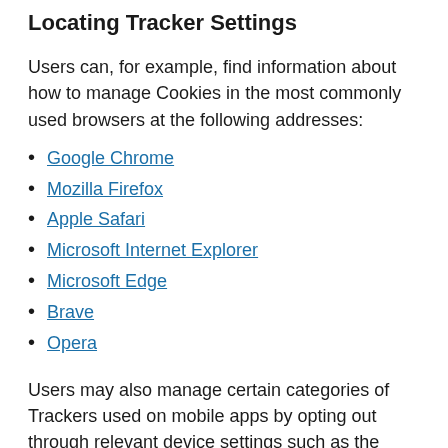Locating Tracker Settings
Users can, for example, find information about how to manage Cookies in the most commonly used browsers at the following addresses:
Google Chrome
Mozilla Firefox
Apple Safari
Microsoft Internet Explorer
Microsoft Edge
Brave
Opera
Users may also manage certain categories of Trackers used on mobile apps by opting out through relevant device settings such as the device advertising settings for mobile devices, or tracking settings in general (Users may open the device settings and